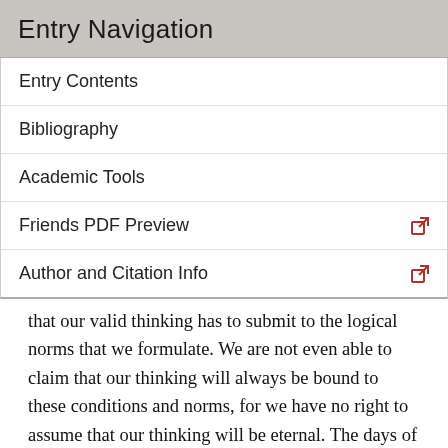Entry Navigation
Entry Contents
Bibliography
Academic Tools
Friends PDF Preview
Author and Citation Info
that our valid thinking has to submit to the logical norms that we formulate. We are not even able to claim that our thinking will always be bound to these conditions and norms, for we have no right to assume that our thinking will be eternal. The days of the human species on earth are numbered too … And even if the human species did not just belong to one period of the development of the earth or the solar system, even then we should not dare proclaim our thinking invariable. We could proclaim such invariability only if we were able to directly grasp